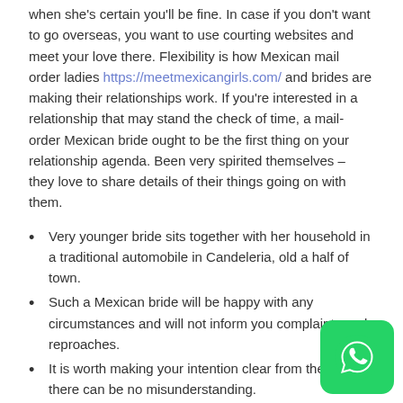when she's certain you'll be fine. In case if you don't want to go overseas, you want to use courting websites and meet your love there. Flexibility is how Mexican mail order ladies https://meetmexicangirls.com/ and brides are making their relationships work. If you're interested in a relationship that may stand the check of time, a mail-order Mexican bride ought to be the first thing on your relationship agenda. Been very spirited themselves – they love to share details of their things going on with them.
Very younger bride sits together with her household in a traditional automobile in Candeleria, old a half of town.
Such a Mexican bride will be happy with any circumstances and will not inform you complaints and reproaches.
It is worth making your intention clear from the start so there can be no misunderstanding.
Many Mexican girls are willing to have some enjoyable, like flirting and having fun with the casualness of online relationship. It is worth making your intention clear from the beginning so there would be no misunderstanding.